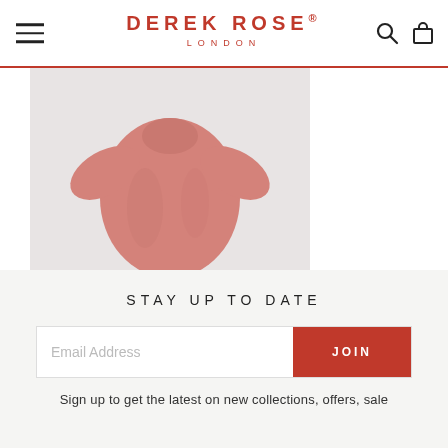DEREK ROSE® LONDON
[Figure (photo): Pink men's short pyjamas laid flat on a light grey background, showing the top garment]
Men's Short Pyjamas
AMALFI COTTON BATISTE RED
£155.00
TOP
STAY UP TO DATE
Email Address
JOIN
Sign up to get the latest on new collections, offers, sale